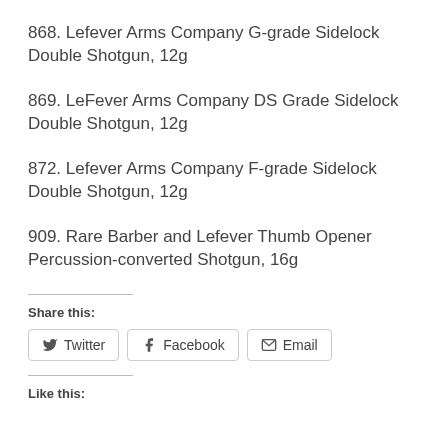868. Lefever Arms Company G-grade Sidelock Double Shotgun, 12g
869. LeFever Arms Company DS Grade Sidelock Double Shotgun, 12g
872. Lefever Arms Company F-grade Sidelock Double Shotgun, 12g
909. Rare Barber and Lefever Thumb Opener Percussion-converted Shotgun, 16g
Share this:
Twitter  Facebook  Email
Like this: